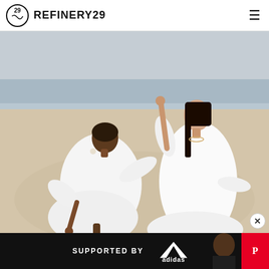REFINERY29
[Figure (photo): Two women wearing flowing white dresses on a sandy beach. One woman is bending forward looking down, the other stands slightly behind with her arm raised. Ocean visible in background.]
SUPPORTED BY adidas